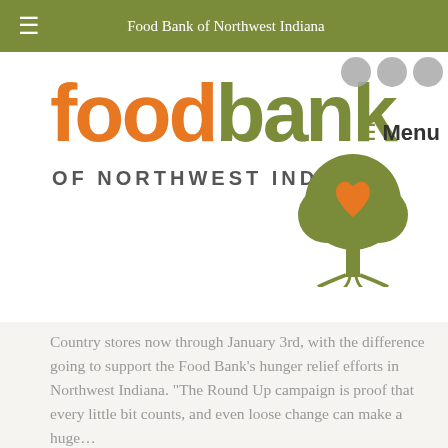Food Bank of Northwest Indiana
[Figure (logo): Food Bank of Northwest Indiana logo with orange 'food' text, green 'bank' text, subtitle 'OF NORTHWEST INDIANA', tree with heart icon, and Menu button]
Country stores now through January 3rd, with the difference going to support the Food Bank's hunger relief efforts in Northwest Indiana. “The Round Up campaign is proof that every little bit counts, and even loose change can make a huge…
Read more
[Figure (photo): COVID-19 text overlay on dark microscopic virus background image]